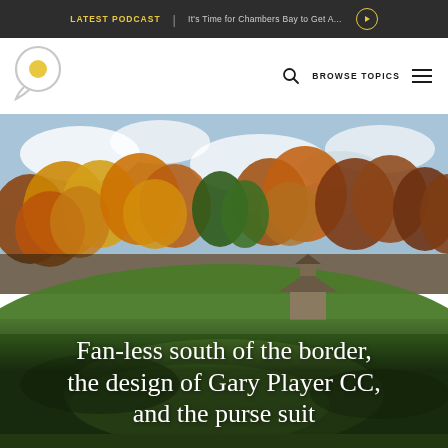LATEST PODCAST | It's Time for Chambers Bay to Get A...
[Figure (logo): Golf website logo: circle with speech bubble containing a yellow dot]
BROWSE TOPICS
[Figure (photo): Aerial view of a golf course fairway surrounded by autumn foliage trees in orange and yellow, with a small stone building visible, under a partly cloudy sky]
Fan-less south of the border, the design of Gary Player CC, and the purse suit